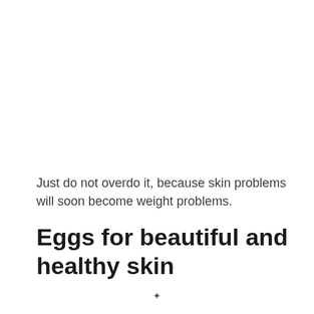Just do not overdo it, because skin problems will soon become weight problems.
Eggs for beautiful and healthy skin